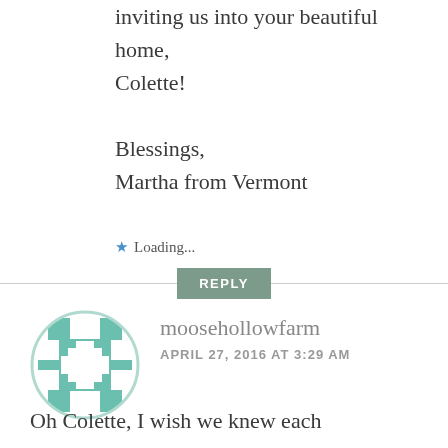inviting us into your beautiful home, Colette!

Blessings,
Martha from Vermont
★ Loading...
REPLY
[Figure (illustration): Circular avatar with teal/green quilt-pattern design on white background]
moosehollowfarm
APRIL 27, 2016 AT 3:29 AM
Oh Colette, I wish we knew each